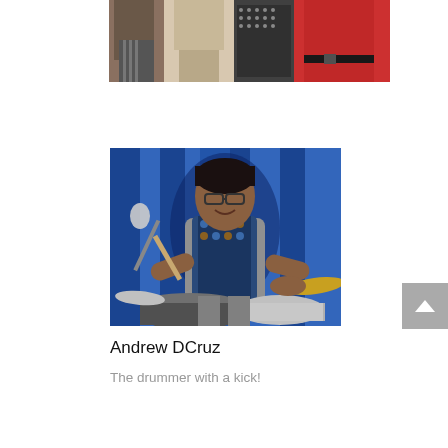[Figure (photo): Cropped bottom portion of a group photo showing people standing together, partially cut off at top of page]
[Figure (photo): Photo of Andrew DCruz, a young man with glasses and dark hair, wearing a patterned vest over a grey shirt, playing drums in front of a blue curtain backdrop]
Andrew DCruz
The drummer with a kick!